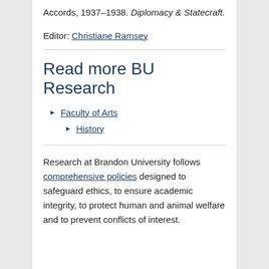Accords, 1937–1938. Diplomacy & Statecraft.
Editor: Christiane Ramsey
Read more BU Research
Faculty of Arts
History
Research at Brandon University follows comprehensive policies designed to safeguard ethics, to ensure academic integrity, to protect human and animal welfare and to prevent conflicts of interest.